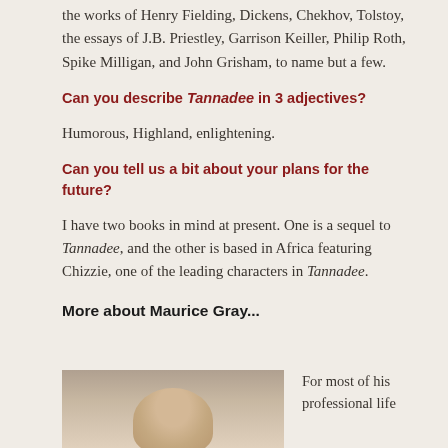the works of Henry Fielding, Dickens, Chekhov, Tolstoy, the essays of J.B. Priestley, Garrison Keiller, Philip Roth, Spike Milligan, and John Grisham, to name but a few.
Can you describe Tannadee in 3 adjectives?
Humorous, Highland, enlightening.
Can you tell us a bit about your plans for the future?
I have two books in mind at present. One is a sequel to Tannadee, and the other is based in Africa featuring Chizzie, one of the leading characters in Tannadee.
More about Maurice Gray...
[Figure (photo): Portrait photo of Maurice Gray]
For most of his professional life